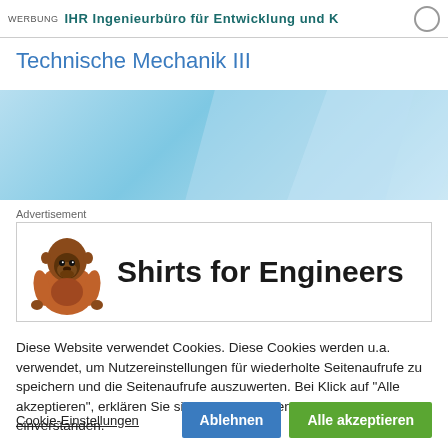WERBUNG IHR INGENIEURBÜRO FÜR ENTWICKLUNG UND K…
Technische Mechanik III
[Figure (illustration): Light blue banner with diagonal polygon shapes in varying shades of blue]
Advertisement
[Figure (logo): Shirts for Engineers advertisement banner with orange gorilla illustration and bold text 'Shirts for Engineers']
Diese Website verwendet Cookies. Diese Cookies werden u.a. verwendet, um Nutzereinstellungen für wiederholte Seitenaufrufe zu speichern und die Seitenaufrufe auszuwerten. Bei Klick auf "Alle akzeptieren", erklären Sie sich mit der Verwendung der Cookies einverstanden.
Cookie-Einstellungen   Ablehnen   Alle akzeptieren